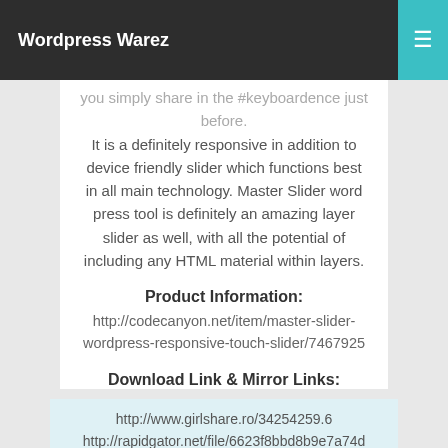Wordpress Warez
you simply share in the #keyboardence just before. It is a definitely responsive in addition to device friendly slider which functions best in all main technology. Master Slider word press tool is definitely an amazing layer slider as well, with all the potential of including any HTML material within layers.
Product Information:
http://codecanyon.net/item/master-slider-wordpress-responsive-touch-slider/7467925
Download Link & Mirror Links:
http://www.girlshare.ro/34254259.6
http://rapidgator.net/file/6623f8bbd8b9e7a74d36837ff858f58f/Master_Slider_v2.9.2_-_WordPress_Responsive_Touch_Slider.zip.html
http://...